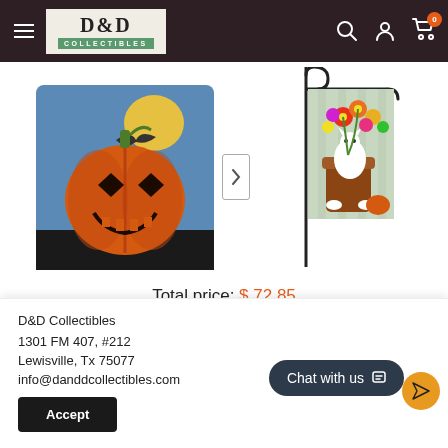D&D Collectibles
[Figure (photo): Halloween jack-o-lantern pumpkin needlepoint/hook pillow with bat and moon on blue background]
[Figure (photo): Garden flag on metal pole showing a white cat in a boot planter surrounded by colorful flowers]
Total price: $ 72.85
D&D Collectibles
1301 FM 407, #212
Lewisville, Tx 75077
info@danddcollectibles.com
Accept
Chat with us
Treas $ 13.00